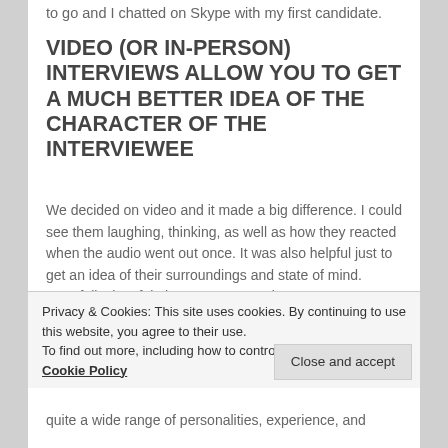to go and I chatted on Skype with my first candidate.
VIDEO (OR IN-PERSON) INTERVIEWS ALLOW YOU TO GET A MUCH BETTER IDEA OF THE CHARACTER OF THE INTERVIEWEE
We decided on video and it made a big difference. I could see them laughing, thinking, as well as how they reacted when the audio went out once. It was also helpful just to get an idea of their surroundings and state of mind. Hopefully they felt the same connection.
Privacy & Cookies: This site uses cookies. By continuing to use this website, you agree to their use.
To find out more, including how to control cookies, see here: Cookie Policy
Close and accept
quite a wide range of personalities, experience, and